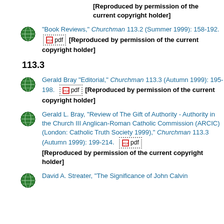[Reproduced by permission of the current copyright holder]
"Book Reviews," Churchman 113.2 (Summer 1999): 158-192. [pdf] [Reproduced by permission of the current copyright holder]
113.3
Gerald Bray "Editorial," Churchman 113.3 (Autumn 1999): 195-198. [pdf] [Reproduced by permission of the current copyright holder]
Gerald L. Bray, "Review of The Gift of Authority - Authority in the Church III Anglican-Roman Catholic Commission (ARCIC) (London: Catholic Truth Society 1999)," Churchman 113.3 (Autumn 1999): 199-214. [pdf] [Reproduced by permission of the current copyright holder]
David A. Streater, "The Significance of John Calvin...